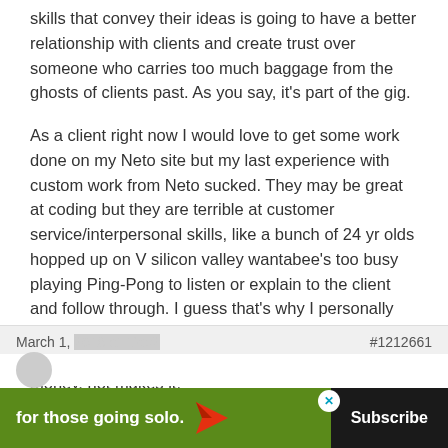skills that convey their ideas is going to have a better relationship with clients and create trust over someone who carries too much baggage from the ghosts of clients past. As you say, it's part of the gig.
As a client right now I would love to get some work done on my Neto site but my last experience with custom work from Neto sucked. They may be great at coding but they are terrible at customer service/interpersonal skills, like a bunch of 24 yr olds hopped up on V silicon valley wantabee's too busy playing Ping-Pong to listen or explain to the client and follow through. I guess that's why I personally found the post disturbing. I've been on the receiving end of that sort of contemptuous attitude. It loses money, not makes it.
0
March 1, 2018 at 12:02   #1212661
[Figure (other): Advertisement banner: green background with text 'for those going solo.' and a red paper airplane icon, and a dark Subscribe button. An X close button is visible.]